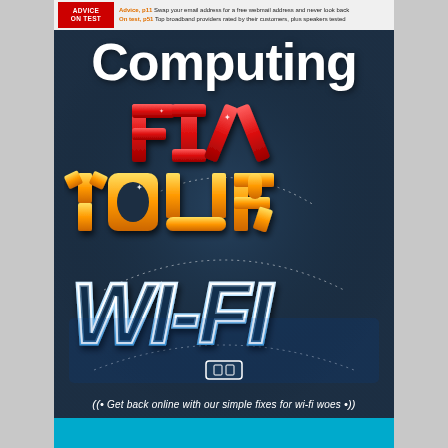Advice, p11 Swap your email address for a free webmail address and never look back
On test, p51 Top broadband providers rated by their customers, plus speakers tested
Computing
[Figure (illustration): Magazine cover illustration with 3D text 'FIX' in red, 'YOUR' in orange, 'WI-FI' in blue/white neon style, on dark denim-textured background with dotted arc lines]
((• Get back online with our simple fixes for wi-fi woes •))